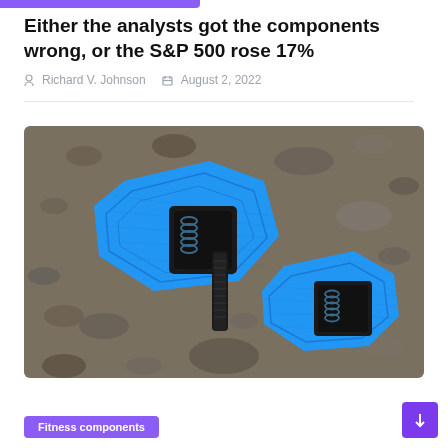Either the analysts got the components wrong, or the S&P 500 rose 17%
Richard V. Johnson   August 2, 2022
[Figure (photo): Two blue hexagonal bicycle clipless pedals lying on gravel/rocky ground, viewed from above. The pedals are bright blue with black metal axles and silver spring mechanisms visible in the center clip area.]
Fitness components